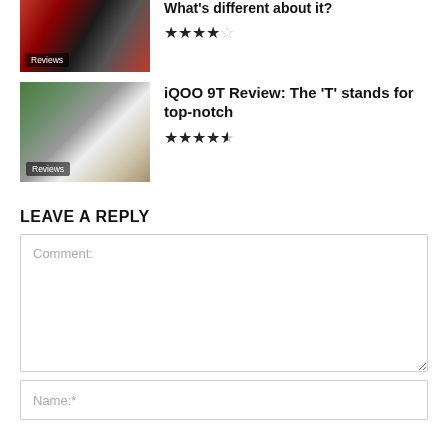[Figure (photo): Partial thumbnail of a smartwatch on a red/striped background with Reviews label overlay]
What's different about it?
★★★★☆ (4 stars out of 5)
[Figure (photo): Thumbnail of iQOO 9T phone on stone surface with plant leaves, Reviews label overlay]
iQOO 9T Review: The 'T' stands for top-notch
★★★★½ (4.5 stars out of 5)
LEAVE A REPLY
Comment:
Name:*